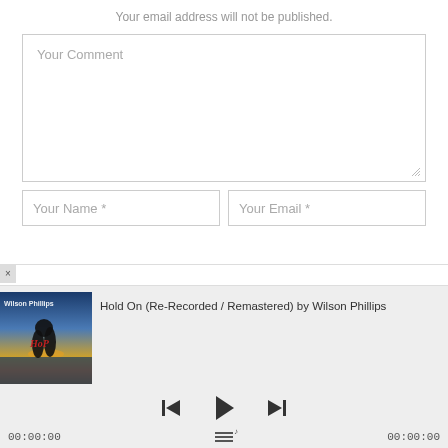Your email address will not be published.
Your Comment
Your Name *
Your Email *
[Figure (screenshot): Music player widget showing album art for Wilson Phillips 'Hold On (Re-Recorded/Remastered)', with playback controls (previous, play, next), time display 00:00:00 on left and right, and playlist icon]
Hold On (Re-Recorded / Remastered) by Wilson Phillips
00:00:00
00:00:00